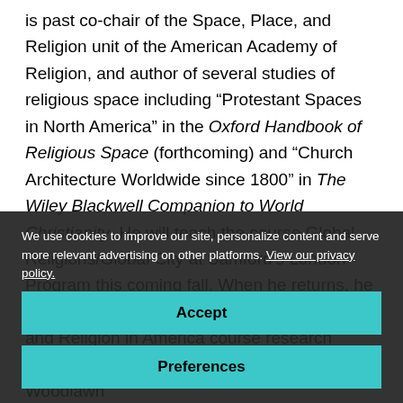is past co-chair of the Space, Place, and Religion unit of the American Academy of Religion, and author of several studies of religious space including “Protestant Spaces in North America” in the Oxford Handbook of Religious Space (forthcoming) and “Church Architecture Worldwide since 1800” in The Wiley Blackwell Companion to World Christianity. He will teach the course Global Religions/Global City at Samford’s London Program this coming fall. When he returns, he hopes to have students in his Race, Ethnicity, and Religion in America course research aspects of religion in the Birmingham’s Woodlawn
We use cookies to improve our site, personalize content and serve more relevant advertising on other platforms. View our privacy policy.
Accept
Preferences